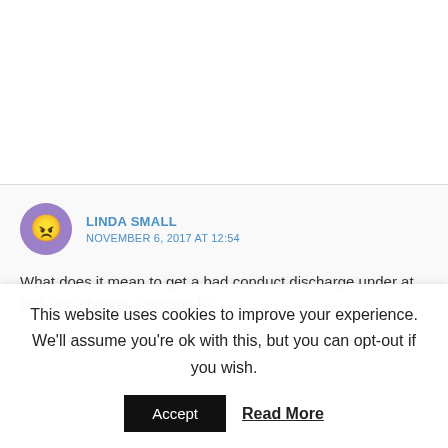LINDA SMALL
NOVEMBER 6, 2017 AT 12:54
What does it mean to get a bad conduct discharge under at 635-200 chapter 3 section IV
This website uses cookies to improve your experience. We'll assume you're ok with this, but you can opt-out if you wish.
Accept
Read More